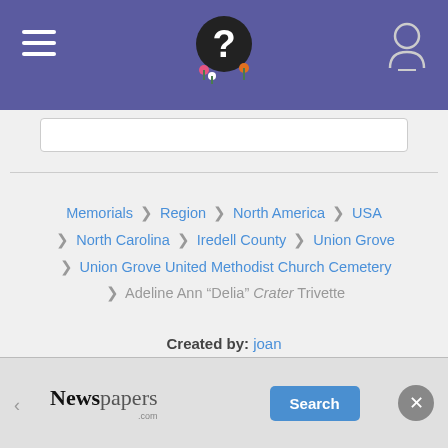Find a Grave website header with hamburger menu, logo, and user icon
Memorials ❯ Region ❯ North America ❯ USA ❯ North Carolina ❯ Iredell County ❯ Union Grove ❯ Union Grove United Methodist Church Cemetery ❯ Adeline Ann "Delia" Crater Trivette
Created by: joan
Added: 29 Jul 2011
Find a Grave Memorial ID: 74090119
Source citation
[Figure (screenshot): Newspapers.com advertisement bar at bottom with Search button]